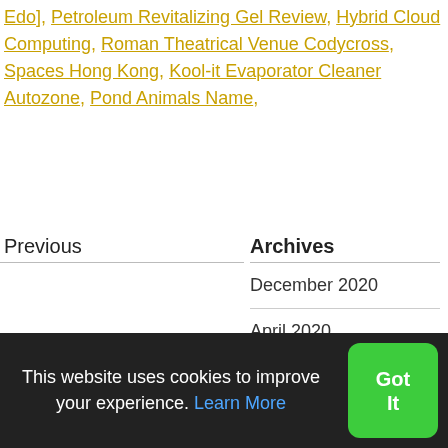Edo], Petroleum Revitalizing Gel Review, Hybrid Cloud Computing, Roman Theatrical Venue Codycross, Spaces Hong Kong, Kool-it Evaporator Cleaner Autozone, Pond Animals Name,
Previous
Archives
December 2020
April 2020
September 2019
July 2019
Gratis!Akses E-Journal, E-books, bahkan Film!!
This website uses cookies to improve your experience. Learn More